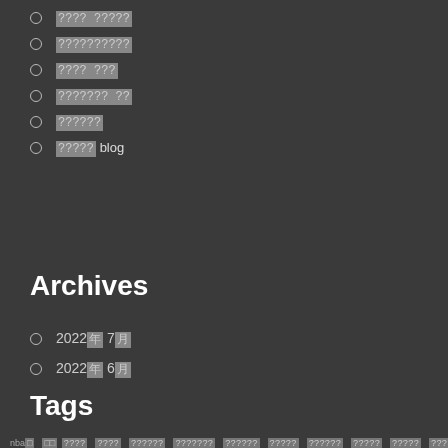[garbled] [garbled]
[garbled]
[garbled] [garbled]
[garbled] [garbled]
[garbled]
[garbled] blog
Archives
2022年7月
2022年6月
Tags
nba□ □□□□□ □□□□ □□□□□□ □□□□□□□ □□□□□□ □□□□□ □□□□□□ □□□□□ □□□□□ □□□□□□ □□□□□